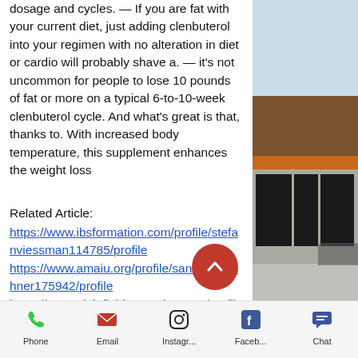dosage and cycles. — If you are fat with your current diet, just adding clenbuterol into your regimen with no alteration in diet or cardio will probably shave a. — it's not uncommon for people to lose 10 pounds of fat or more on a typical 6-to-10-week clenbuterol cycle. And what's great is that, thanks to. With increased body temperature, this supplement enhances the weight loss
Related Article: https://www.ibsformation.com/profile/stefanviessman114785/profile https://www.amaiu.org/profile/santiagokirshner175942/profile https://www.plainfieldmotorsinc.com/profile/edythpailet112891/profile https://www.ecochemicolda.com/profile/mohammadszoka109566/profile
[Figure (photo): Exterior view of a building with brick facade, large windows, and pavement in foreground]
Phone  Email  Instagr...  Faceb...  Chat